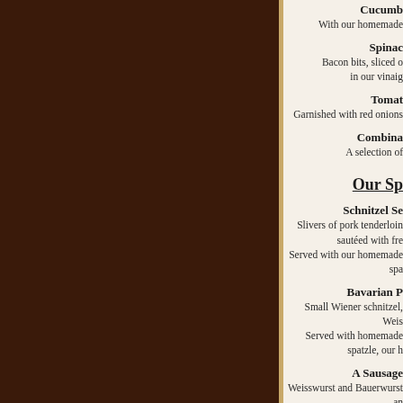Cucumber
With our homemade
Spinac
Bacon bits, sliced o
in our vinaig
Tomat
Garnished with red onions
Combina
A selection of
Our Sp
Schnitzel Se
Slivers of pork tenderloin sautéed with fre
Served with our homemade spa
Bavarian P
Small Wiener schnitzel, Weis
Served with homemade spatzle, our h
A Sausage
Weisswurst and Bauerwurst an